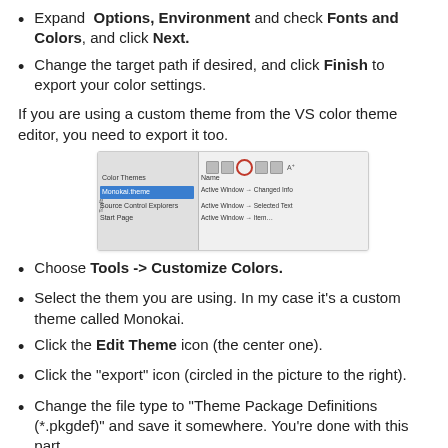Expand Options, Environment and check Fonts and Colors, and click Next.
Change the target path if desired, and click Finish to export your color settings.
If you are using a custom theme from the VS color theme editor, you need to export it too.
[Figure (screenshot): Screenshot of VS Color Theme editor showing Color Themes panel with Monokai.theme selected (highlighted in blue), Source Control Explorers and Start Page items below, and a right panel showing Name header with Active Window -> Changed Info and Active Window -> Selected Text rows, with toolbar icons at top including a circled export icon.]
Choose Tools -> Customize Colors.
Select the them you are using. In my case it's a custom theme called Monokai.
Click the Edit Theme icon (the center one).
Click the "export" icon (circled in the picture to the right).
Change the file type to "Theme Package Definitions (*.pkgdef)" and save it somewhere. You're done with this part.